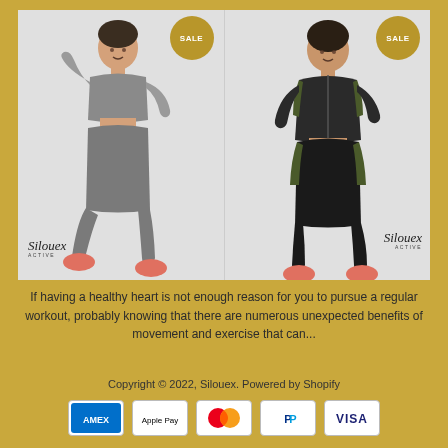[Figure (photo): Two female models wearing Silouex Active athletic wear. Left model in grey/light outfit, right model in black/olive outfit. Both have SALE badges. Both images branded with Silouex Active logo.]
If having a healthy heart is not enough reason for you to pursue a regular workout, probably knowing that there are numerous unexpected benefits of movement and exercise that can...
Copyright © 2022, Silouex. Powered by Shopify
[Figure (logo): Payment icons: Amex, Apple Pay, Mastercard, PayPal, Visa]